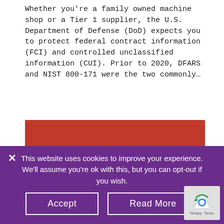Whether you're a family owned machine shop or a Tier 1 supplier, the U.S. Department of Defense (DoD) expects you to protect federal contract information (FCI) and controlled unclassified information (CUI). Prior to 2020, DFARS and NIST 800-171 were the two commonly...
[Figure (logo): Microsoft Office 365 logo on a red/orange background, showing the Office icon (stylized window) and the text 'Office 365' in white.]
This website uses cookies to improve your experience. We'll assume you're ok with this, but you can opt-out if you wish.